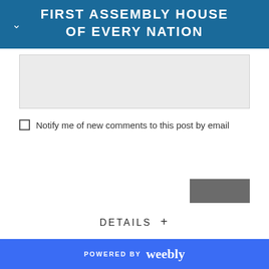FIRST ASSEMBLY HOUSE OF EVERY NATION
[Figure (screenshot): Gray text input area / comment box]
Notify me of new comments to this post by email
[Figure (other): Gray submit button]
DETAILS +
POWERED BY weebly